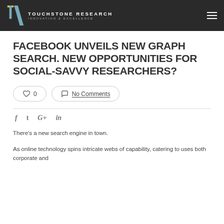TOUCHSTONE RESEARCH INNOVATION & EXCELLENCE
FACEBOOK UNVEILS NEW GRAPH SEARCH. NEW OPPORTUNITIES FOR SOCIAL-SAVVY RESEARCHERS?
0  No Comments
f  t  G+  in
There's a new search engine in town.
As online technology spins intricate webs of capability, catering to uses both corporate and